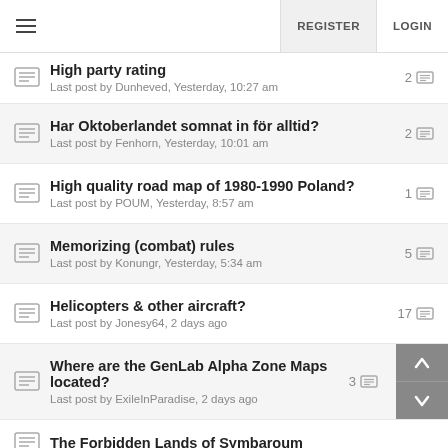REGISTER | LOGIN
High party rating
Last post by Dunheved, Yesterday, 10:27 am
2
Har Oktoberlandet somnat in för alltid?
Last post by Fenhorn, Yesterday, 10:01 am
2
High quality road map of 1980-1990 Poland?
Last post by POUM, Yesterday, 8:57 am
1
Memorizing (combat) rules
Last post by Konungr, Yesterday, 5:34 am
5
Helicopters & other aircraft?
Last post by Jonesy64, 2 days ago
17
Where are the GenLab Alpha Zone Maps located?
Last post by ExileInParadise, 2 days ago
3
The Forbidden Lands of Symbaroum